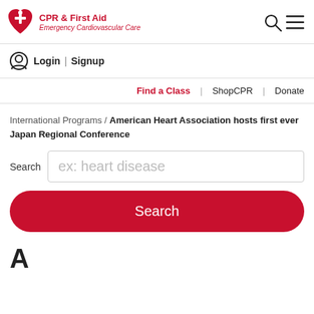[Figure (logo): CPR & First Aid Emergency Cardiovascular Care logo with heart and torch icon in red]
Login | Signup
Find a Class | ShopCPR | Donate
International Programs / American Heart Association hosts first ever Japan Regional Conference
Search  ex: heart disease
Search